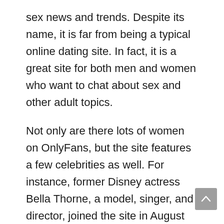sex news and trends. Despite its name, it is far from being a typical online dating site. In fact, it is a great site for both men and women who want to chat about sex and other adult topics.
Not only are there lots of women on OnlyFans, but the site features a few celebrities as well. For instance, former Disney actress Bella Thorne, a model, singer, and director, joined the site in August 2020. She earned $1 million within a 24 hour period. Another popular